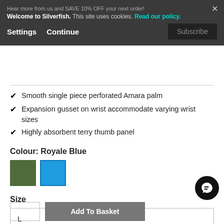Welcome to Silverfish. This site uses cookies. Read our policy. Settings Continue Subscribe
Hear more from us and SAVE 10% OFF your next order!
Smooth single piece perforated Amara palm
Expansion gusset on wrist accommodate varying wrist sizes
Highly absorbent terry thumb panel
Colour: Royale Blue
[Figure (other): Two colour swatches: green square and blue square (selected, Royale Blue)]
Size
L